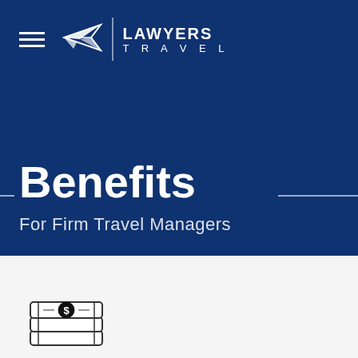[Figure (logo): Lawyers Travel logo with paper airplane icon, vertical divider, and text LAWYERS TRAVEL]
Benefits
For Firm Travel Managers
[Figure (illustration): Stack of money/cash bills icon with dollar sign circle]